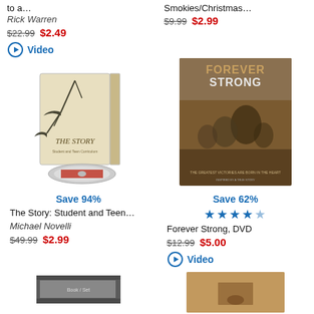to a…
Rick Warren
$22.99  $2.49
Video
Smokies/Christmas…
$9.99  $2.99
[Figure (photo): The Story: Student and Teen DVD product image with disc]
Save 94%
The Story: Student and Teen…
Michael Novelli
$49.99  $2.99
[Figure (photo): Forever Strong DVD movie cover]
Save 62%
★★★★☆
Forever Strong, DVD
$12.99  $5.00
Video
[Figure (photo): Bottom left product image partially visible]
[Figure (photo): Bottom right product image partially visible]